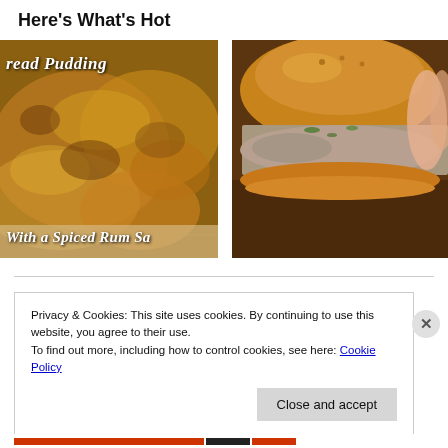Here's What's Hot
[Figure (photo): Photo of bread pudding with text overlay 'read Pudding' and 'With a Spiced Rum Sa']
[Figure (photo): Photo of a sandwich/slider being held, close-up view]
Privacy & Cookies: This site uses cookies. By continuing to use this website, you agree to their use.
To find out more, including how to control cookies, see here: Cookie Policy
Close and accept